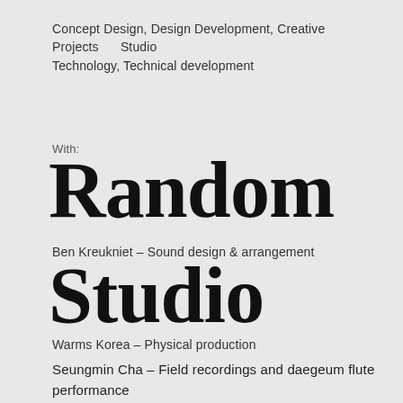Concept Design, Design Development, Creative Projects    Studio
Technology, Technical development
With:
Random
Studio
Ben Kreukniet – Sound design & arrangement
Warms Korea – Physical production
Seungmin Cha – Field recordings and daegeum flute performance